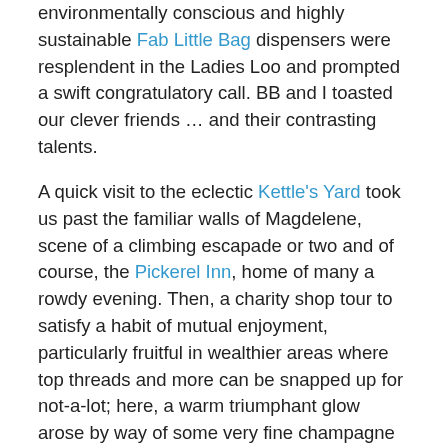environmentally conscious and highly sustainable Fab Little Bag dispensers were resplendent in the Ladies Loo and prompted a swift congratulatory call. BB and I toasted our clever friends … and their contrasting talents.
A quick visit to the eclectic Kettle's Yard took us past the familiar walls of Magdelene, scene of a climbing escapade or two and of course, the Pickerel Inn, home of many a rowdy evening. Then, a charity shop tour to satisfy a habit of mutual enjoyment, particularly fruitful in wealthier areas where top threads and more can be snapped up for not-a-lot; here, a warm triumphant glow arose by way of some very fine champagne flutes now in a cupboard at home poised for a fitting celebration.
Our substantial and late breakfast providing fuel enough for a return walk through town, we got as far as the